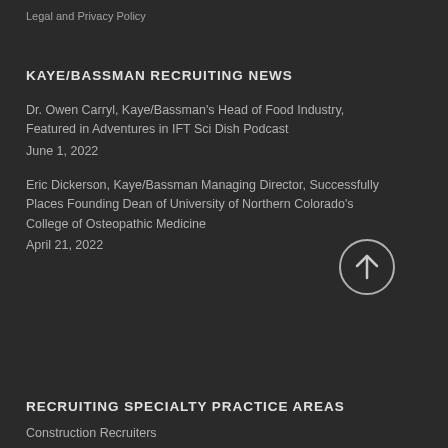Legal and Privacy Policy
KAYE/BASSMAN RECRUITING NEWS
Dr. Owen Carryl, Kaye/Bassman's Head of Food Industry, Featured in Adventures in IFT Sci Dish Podcast
June 1, 2022
Eric Dickerson, Kaye/Bassman Managing Director, Successfully Places Founding Dean of University of Northern Colorado's College of Osteopathic Medicine
April 21, 2022
RECRUITING SPECIALTY PRACTICE AREAS
Construction Recruiters